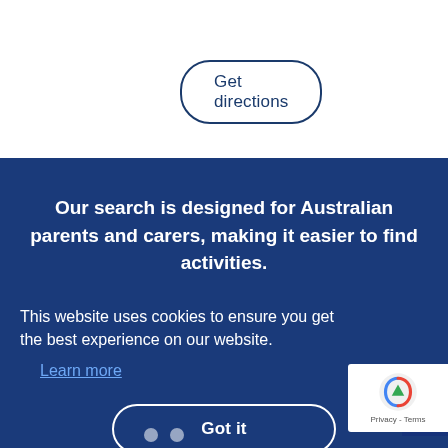Get directions
Our search is designed for Australian parents and carers, making it easier to find activities.
This website uses cookies to ensure you get the best experience on our website. Learn more
Got it